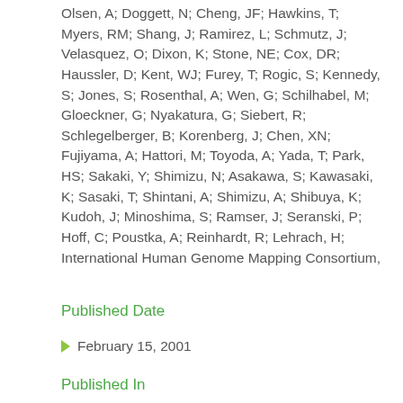Olsen, A; Doggett, N; Cheng, JF; Hawkins, T; Myers, RM; Shang, J; Ramirez, L; Schmutz, J; Velasquez, O; Dixon, K; Stone, NE; Cox, DR; Haussler, D; Kent, WJ; Furey, T; Rogic, S; Kennedy, S; Jones, S; Rosenthal, A; Wen, G; Schilhabel, M; Gloeckner, G; Nyakatura, G; Siebert, R; Schlegelberger, B; Korenberg, J; Chen, XN; Fujiyama, A; Hattori, M; Toyoda, A; Yada, T; Park, HS; Sakaki, Y; Shimizu, N; Asakawa, S; Kawasaki, K; Sasaki, T; Shintani, A; Shimizu, A; Shibuya, K; Kudoh, J; Minoshima, S; Ramser, J; Seranski, P; Hoff, C; Poustka, A; Reinhardt, R; Lehrach, H; International Human Genome Mapping Consortium,
Published Date
February 15, 2001
Published In